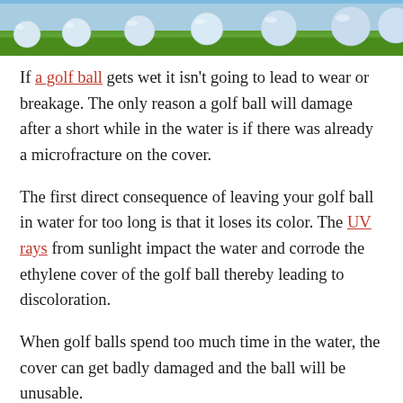[Figure (photo): Photo of multiple white/light blue golf balls resting on green grass, cropped at the top of the page.]
If a golf ball gets wet it isn't going to lead to wear or breakage. The only reason a golf ball will damage after a short while in the water is if there was already a microfracture on the cover.
The first direct consequence of leaving your golf ball in water for too long is that it loses its color. The UV rays from sunlight impact the water and corrode the ethylene cover of the golf ball thereby leading to discoloration.
When golf balls spend too much time in the water, the cover can get badly damaged and the ball will be unusable.